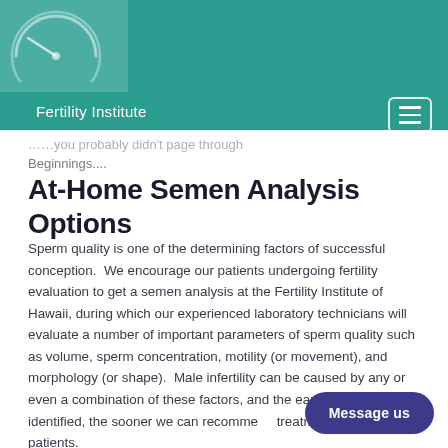[Figure (logo): Fertility Institute logo - circular gauge/speedometer icon in light teal on teal background]
Fertility Institute
...you probably didn't page through Beginnings....
At-Home Semen Analysis Options
Sperm quality is one of the determining factors of successful conception.  We encourage our patients undergoing fertility evaluation to get a semen analysis at the Fertility Institute of Hawaii, during which our experienced laboratory technicians will evaluate a number of important parameters of sperm quality such as volume, sperm concentration, motility (or movement), and morphology (or shape).  Male infertility can be caused by any or even a combination of these factors, and the earlier they can be identified, the sooner we can recommend treatment to our patients.